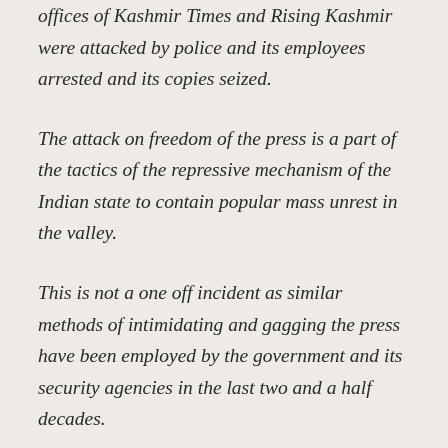offices of Kashmir Times and Rising Kashmir were attacked by police and its employees arrested and its copies seized.
The attack on freedom of the press is a part of the tactics of the repressive mechanism of the Indian state to contain popular mass unrest in the valley.
This is not a one off incident as similar methods of intimidating and gagging the press have been employed by the government and its security agencies in the last two and a half decades.
This is a complete breakdown of law and order machinery as the institutions which are supposed to maintain peace, law and order are responsible for the breakdown.